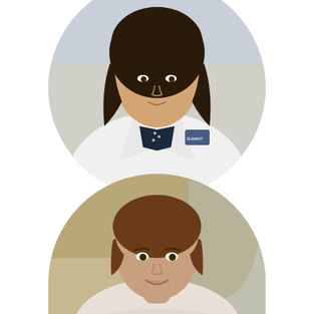[Figure (photo): Circular cropped professional headshot photo of Hayley Phillips, a woman with long dark wavy hair wearing a white medical coat over a dark blouse, standing outdoors]
Hayley Phillips
FNP
Read Bio
[Figure (photo): Circular cropped professional headshot photo of a woman with short brown hair, smiling, wearing a light-colored top, photographed outdoors with a blurred background]